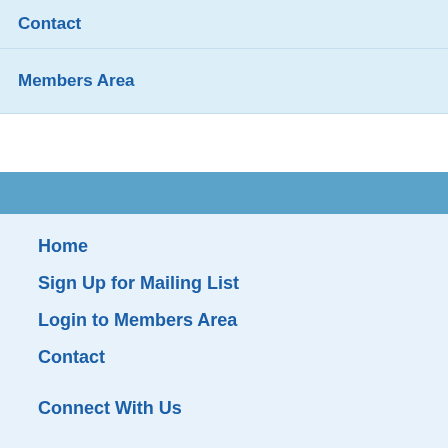Contact
Members Area
Home
Sign Up for Mailing List
Login to Members Area
Contact
Connect With Us